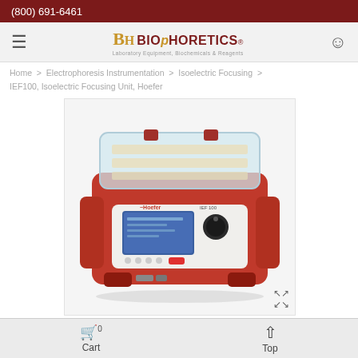(800) 691-6461
[Figure (logo): BIOpHORETICS logo with tagline 'Laboratory Equipment, Biochemicals & Reagents']
Home > Electrophoresis Instrumentation > Isoelectric Focusing > IEF100, Isoelectric Focusing Unit, Hoefer
[Figure (photo): IEF100 Isoelectric Focusing Unit by Hoefer — a red laboratory electrophoresis instrument with a transparent lid showing gel trays, a blue LCD display panel on the front, control knob, and buttons.]
Cart  Top